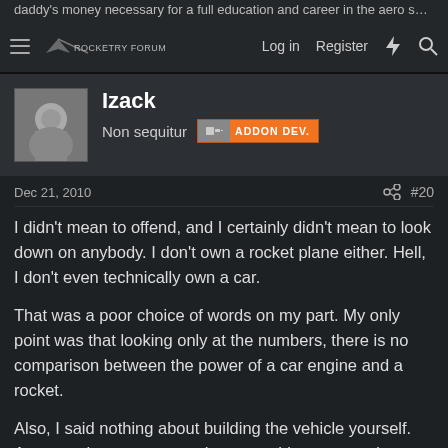daddy's money necessary for a full education and career in the aero space...
[Figure (screenshot): Navigation bar with hamburger menu, site logo/text, Log in, Register, lightning bolt icon, and search icon]
Izack
Non sequitur  ADDON DEV.
Dec 21, 2010  #20
I didn't mean to offend, and I certainly didn't mean to look down on anybody. I don't own a rocket plane either. Hell, I don't even technically own a car.

That was a poor choice of words on my part. My only point was that looking only at the numbers, there is no comparison between the power of a car engine and a rocket.

Also, I said nothing about building the vehicle yourself. Anyone who can put together something as complex as an automobile has my respect.

But if you say "My [insert store-bought car name here] has 350HP. Just imagine how much power that is!" I won't be able...